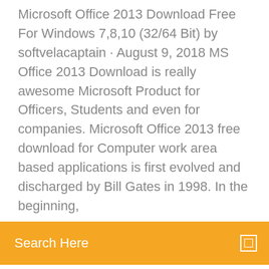Microsoft Office 2013 Download Free For Windows 7,8,10 (32/64 Bit) by softvelacaptain · August 9, 2018 MS Office 2013 Download is really awesome Microsoft Product for Officers, Students and even for companies. Microsoft Office 2013 free download for Computer work area based applications is first evolved and discharged by Bill Gates in 1998. In the beginning,
Search Here
Power Oint, and MS Excel. Truth be told, in the long run, Office has developed significantly Microsoft Office 2013. Enjoy Microsoft Office 2013 Download Free For Windows 10, 8.1, 7 from Softonic App. MS office 2013 is one of the most useful apps for the PC. This is the best forum where you will get what you to need for your operating system. Now we are bringing the best product for you which suits you for different office jobs or some other purposes. Microsoft office 2013 free download 64 bit could possibly paintings for your desktop in addition to your cellular. That is relatively implausible that now you've gotten